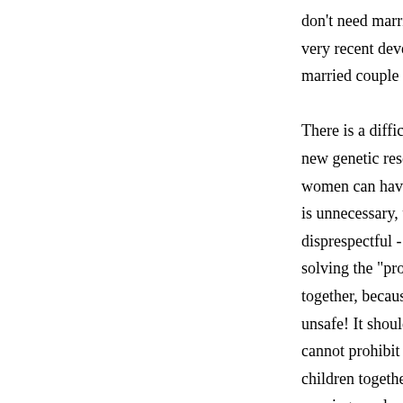don't need marriage to have chi... very recent development. Even ... married couple from conceiving... There is a difficult problem com... new genetic research to make it... women can have children togeth... is unnecessary, unsafe, a waste... disprespectful - gays don't need... solving the "problem" that gay p... together, because it is not a prob... unsafe! It should not be allowed... cannot prohibit a marriage from... children together, and if we did,... marriage no longer protects a m... conception rights, either. That is... situation, leading to eugenics. My feeling is that gay rights a...